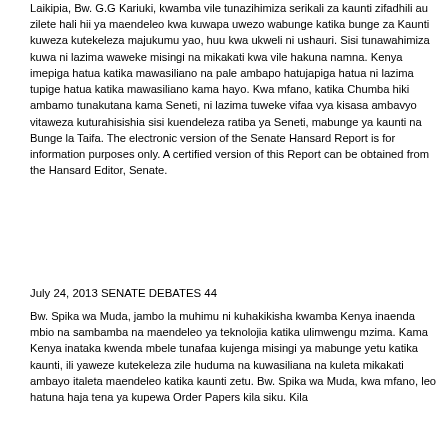Laikipia, Bw. G.G Kariuki, kwamba vile tunazihimiza serikali za kaunti zifadhili au zilete hali hii ya maendeleo kwa kuwapa uwezo wabunge katika bunge za Kaunti kuweza kutekeleza majukumu yao, huu kwa ukweli ni ushauri. Sisi tunawahimiza kuwa ni lazima waweke misingi na mikakati kwa vile hakuna namna. Kenya imepiga hatua katika mawasiliano na pale ambapo hatujapiga hatua ni lazima tupige hatua katika mawasiliano kama hayo. Kwa mfano, katika Chumba hiki ambamo tunakutana kama Seneti, ni lazima tuweke vifaa vya kisasa ambavyo vitaweza kuturahisishia sisi kuendeleza ratiba ya Seneti, mabunge ya kaunti na Bunge la Taifa. The electronic version of the Senate Hansard Report is for information purposes only. A certified version of this Report can be obtained from the Hansard Editor, Senate.
July 24, 2013 SENATE DEBATES 44
Bw. Spika wa Muda, jambo la muhimu ni kuhakikisha kwamba Kenya inaenda mbio na sambamba na maendeleo ya teknolojia katika ulimwengu mzima. Kama Kenya inataka kwenda mbele tunafaa kujenga misingi ya mabunge yetu katika kaunti, ili yaweze kutekeleza zile huduma na kuwasiliana na kuleta mikakati ambayo italeta maendeleo katika kaunti zetu. Bw. Spika wa Muda, kwa mfano, leo hatuna haja tena ya kupewa Order Papers kila siku. Kila